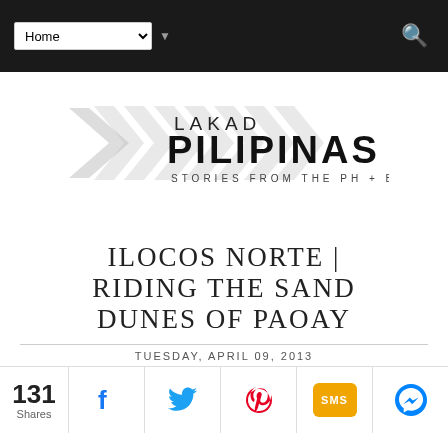Home (navigation dropdown)
[Figure (logo): Lakad Pilipinas logo — chevron arrows with text LAKAD PILIPINAS STORIES FROM THE PH + BEYOND]
ILOCOS NORTE | RIDING THE SAND DUNES OF PAOAY
TUESDAY, APRIL 09, 2013
131 Shares